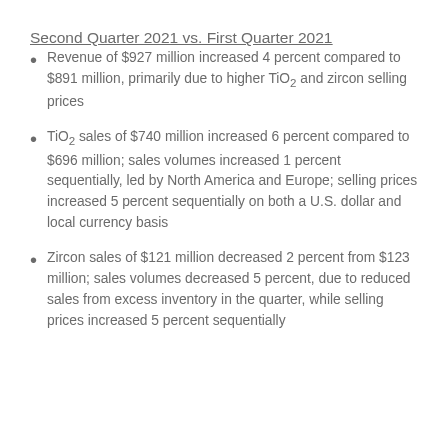Second Quarter 2021 vs. First Quarter 2021
Revenue of $927 million increased 4 percent compared to $891 million, primarily due to higher TiO2 and zircon selling prices
TiO2 sales of $740 million increased 6 percent compared to $696 million; sales volumes increased 1 percent sequentially, led by North America and Europe; selling prices increased 5 percent sequentially on both a U.S. dollar and local currency basis
Zircon sales of $121 million decreased 2 percent from $123 million; sales volumes decreased 5 percent, due to reduced sales from excess inventory in the quarter, while selling prices increased 5 percent sequentially